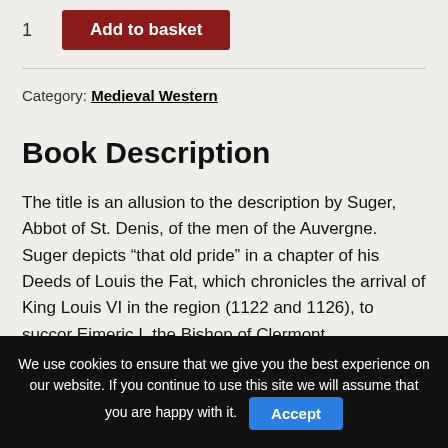1  Add to basket
Category: Medieval Western
Book Description
The title is an allusion to the description by Suger, Abbot of St. Denis, of the men of the Auvergne. Suger depicts “that old pride” in a chapter of his Deeds of Louis the Fat, which chronicles the arrival of King Louis VI in the region (1122 and 1126), to succor Eimeric I, the Bishop of Clermont,
We use cookies to ensure that we give you the best experience on our website. If you continue to use this site we will assume that you are happy with it. Accept